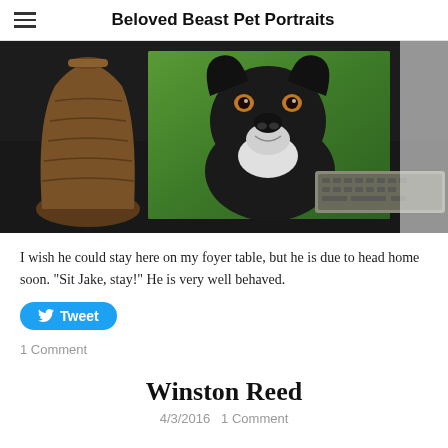Beloved Beast Pet Portraits
[Figure (photo): A painted pet portrait of a black and white dog (Jake) displayed on a dark foyer table next to a brown ceramic vase on the left and a decorative metal keyboard/tray on the right. Green background in the painting.]
I wish he could stay here on my foyer table, but he is due to head home soon. "Sit Jake, stay!" He is very well behaved.
Tweet
1 Comment
Winston Reed
4/3/2016  1 Comment